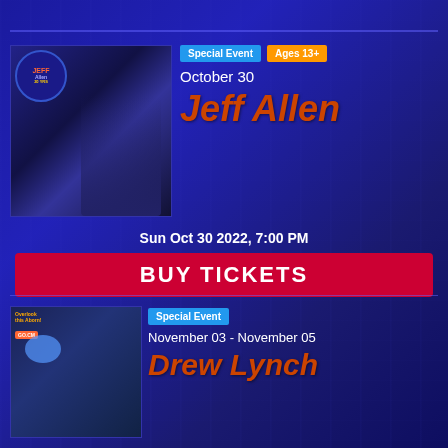[Figure (illustration): Event listing page with dark blue city backdrop. Top section features Jeff Allen comedy show. Bottom section features Drew Lynch show.]
Special Event   Ages 13+
October 30
Jeff Allen
Sun Oct 30 2022, 7:00 PM
BUY TICKETS
Special Event
November 03 - November 05
Drew Lynch